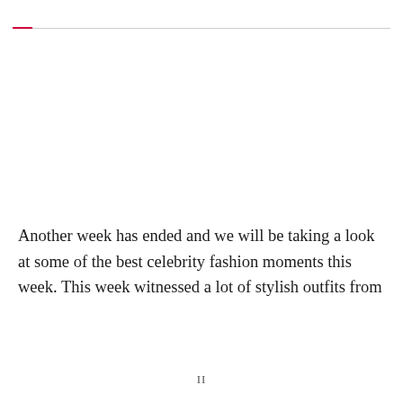Another week has ended and we will be taking a look at some of the best celebrity fashion moments this week. This week witnessed a lot of stylish outfits from